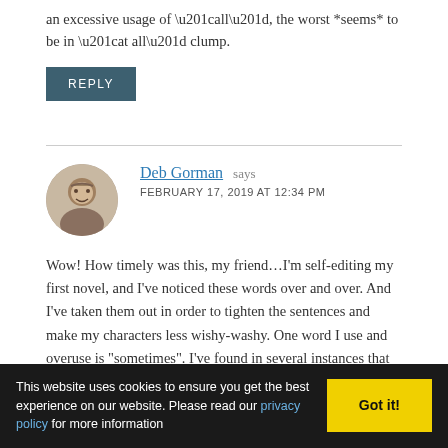an excessive usage of “all”, the worst *seems* to be in “at all” clump.
REPLY
Deb Gorman says
FEBRUARY 17, 2019 AT 12:34 PM
Wow! How timely was this, my friend…I’m self-editing my first novel, and I’ve noticed these words over and over. And I’ve taken them out in order to tighten the sentences and make my characters less wishy-washy. One word I use and overuse is “sometimes”. I’ve found in several instances that taking it out defines my character: “He’d noticed over the years she sometimes
This website uses cookies to ensure you get the best experience on our website. Please read our privacy policy for more information